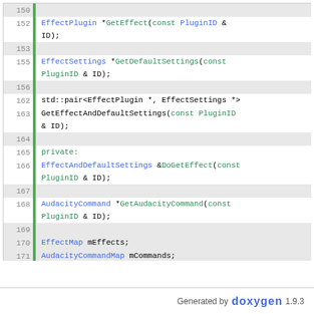[Figure (screenshot): Source code listing showing C++ header file lines 150-181 with syntax highlighting. Contains method declarations for EffectPlugin, EffectSettings, GetEffectAndDefaultSettings, private member functions DoGetEffect and GetAudacityCommand, member variables EffectMap mEffects, AudacityCommandMap mCommands, EffectOwnerMap mHostEffects, int mNumEffects, bool mSkipStateFlag, and closing brace with #endif.]
Generated by doxygen 1.9.3